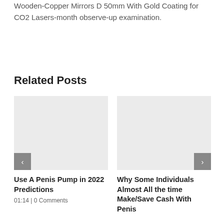Wooden-Copper Mirrors D 50mm With Gold Coating for CO2 Lasers-month observe-up examination.
Related Posts
[Figure (photo): Placeholder image for first related post (light gray rectangle)]
Use A Penis Pump in 2022  Predictions
01:14 | 0 Comments
[Figure (photo): Placeholder image for second related post (light gray rectangle)]
Why Some Individuals Almost All the time Make/Save Cash With Penis